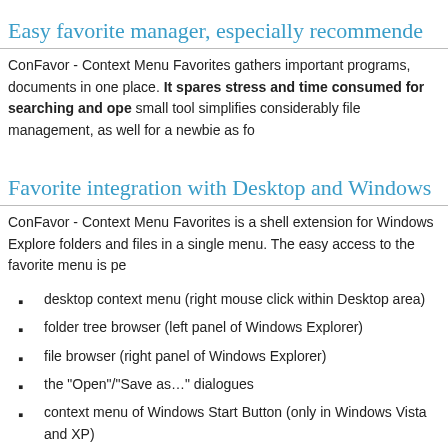Easy favorite manager, especially recommended
ConFavor - Context Menu Favorites gathers important programs, documents in one place. It spares stress and time consumed for searching and opening. This small tool simplifies considerably file management, as well for a newbie as fo…
Favorite integration with Desktop and Windows
ConFavor - Context Menu Favorites is a shell extension for Windows Explorer. It lists folders and files in a single menu. The easy access to the favorite menu is pe…
desktop context menu (right mouse click within Desktop area)
folder tree browser (left panel of Windows Explorer)
file browser (right panel of Windows Explorer)
the "Open"/"Save as…" dialogues
context menu of Windows Start Button (only in Windows Vista and XP)